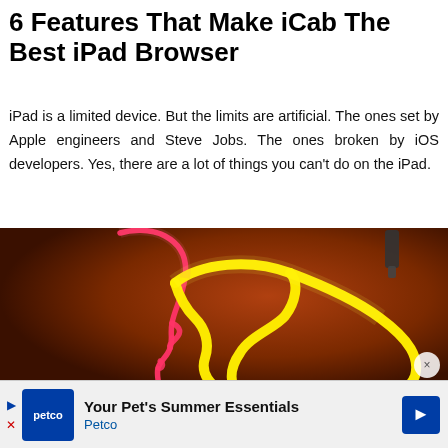6 Features That Make iCab The Best iPad Browser
iPad is a limited device. But the limits are artificial. The ones set by Apple engineers and Steve Jobs. The ones broken by iOS developers. Yes, there are a lot of things you can't do on the iPad.
[Figure (photo): Neon light art on dark red/brown background showing a human head profile outline in pink/red neon and a brain shape in yellow neon]
Your Pet's Summer Essentials
Petco